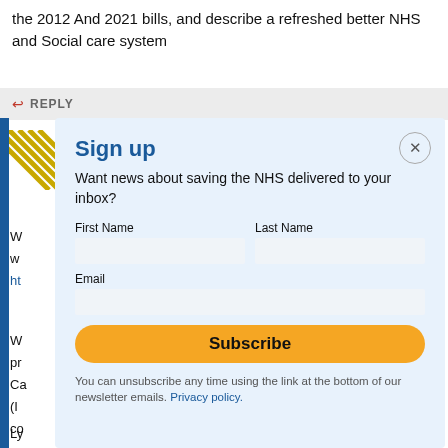the 2012 And 2021 bills, and describe a refreshed better NHS and Social care system
REPLY
[Figure (screenshot): Email newsletter sign-up modal overlay with fields for First Name, Last Name, Email, and a Subscribe button on a light blue background]
Sign up
Want news about saving the NHS delivered to your inbox?
First Name
Last Name
Email
Subscribe
You can unsubscribe any time using the link at the bottom of our newsletter emails. Privacy policy.